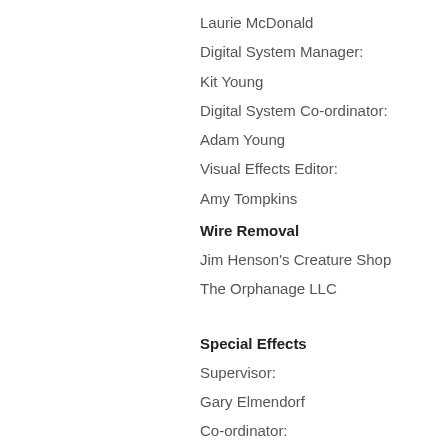Laurie McDonald
Digital System Manager:
Kit Young
Digital System Co-ordinator:
Adam Young
Visual Effects Editor:
Amy Tompkins
Wire Removal
Jim Henson's Creature Shop
The Orphanage LLC
Special Effects
Supervisor:
Gary Elmendorf
Co-ordinator:
Randy Shymkiw
Foremen:
David Heron